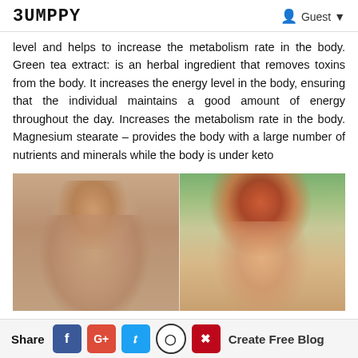BUMPPY   Guest
level and helps to increase the metabolism rate in the body. Green tea extract: is an herbal ingredient that removes toxins from the body. It increases the energy level in the body, ensuring that the individual maintains a good amount of energy throughout the day. Increases the metabolism rate in the body. Magnesium stearate – provides the body with a large number of nutrients and minerals while the body is under keto
[Figure (photo): Before and after weight loss photos of a red-haired woman. Left photo shows a heavier woman indoors with tan background. Right photo shows the same woman slimmer, outdoors.]
Share  f  G+  t  [reddit]  [pinterest]  Create Free Blog